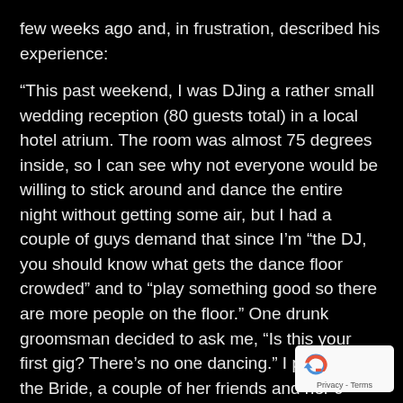few weeks ago and, in frustration, described his experience:
“This past weekend, I was DJing a rather small wedding reception (80 guests total) in a local hotel atrium. The room was almost 75 degrees inside, so I can see why not everyone would be willing to stick around and dance the entire night without getting some air, but I had a couple of guys demand that since I’m “the DJ, you should know what gets the dance floor crowded” and to “play something good so there are more people on the floor.” One drunk groomsman decided to ask me, “Is this your first gig? There’s no one dancing.” I pointed out the Bride, a couple of her friends and her 9-year-old niece on the dance floor, but he blew me off and said, “You’re not doing your job. Get people on the dance floor!”
“In fact, I almost got into a heated argument with a bel… guest because I won’t cut songs off and play “anything… … [ … ] …